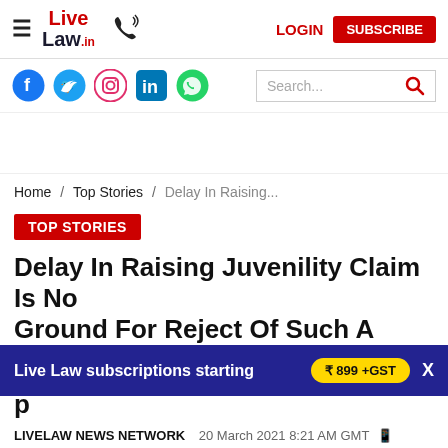Live Law — LOGIN  SUBSCRIBE
[Figure (logo): Live Law .in logo in red and dark navy, with hamburger menu icon on left and phone icon to the right]
[Figure (infographic): Social media icons: Facebook, Twitter, Instagram, LinkedIn, WhatsApp]
[Figure (screenshot): Search box with magnifying glass icon]
Home / Top Stories / Delay In Raising...
TOP STORIES
Delay In Raising Juvenility Claim Is No Ground For Reject... Of Such A Claim...
Live Law subscriptions starting  ₹ 899 +GST  X
LIVELAW NEWS NETWORK   20 March 2021 8:21 AM GMT